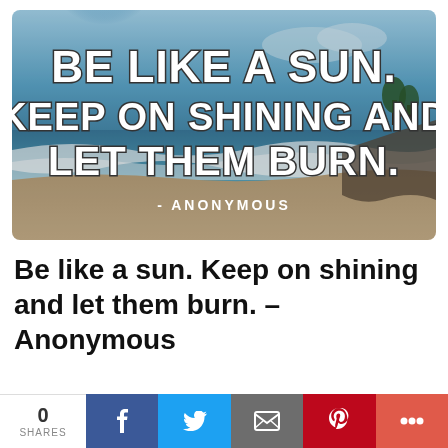[Figure (photo): Beach scene with ocean waves and blue sky; bold white text overlay reads: BE LIKE A SUN. KEEP ON SHINING AND LET THEM BURN. – ANONYMOUS]
Be like a sun. Keep on shining and let them burn. – Anonymous
0 SHARES | Share buttons: Facebook, Twitter, Email, Pinterest, More